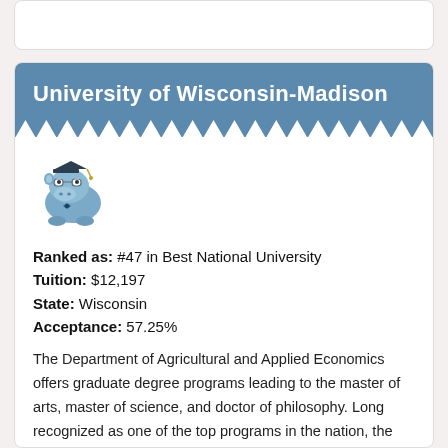University of Wisconsin-Madison
[Figure (illustration): Cartoon blue hippo wearing graduation cap and glasses with a bow tie]
Ranked as: #47 in Best National University
Tuition: $12,197
State: Wisconsin
Acceptance: 57.25%
The Department of Agricultural and Applied Economics offers graduate degree programs leading to the master of arts, master of science, and doctor of philosophy. Long recognized as one of the top programs in the nation, the department is an active center of research and graduate training in environmental and natural resource